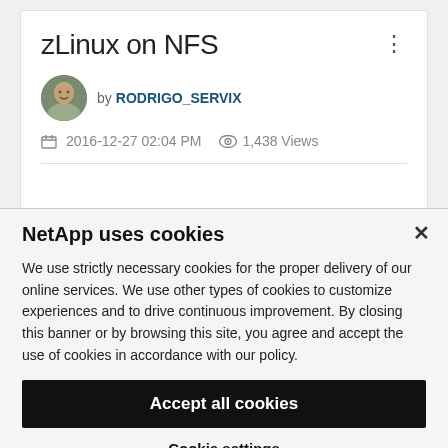zLinux on NFS
by RODRIGO_SERVIX
2016-12-27 02:04 PM  1,438 Views
NetApp uses cookies
We use strictly necessary cookies for the proper delivery of our online services. We use other types of cookies to customize experiences and to drive continuous improvement. By closing this banner or by browsing this site, you agree and accept the use of cookies in accordance with our policy.
Accept all cookies
Cookie settings